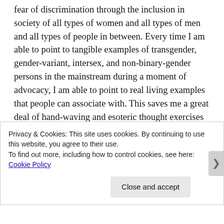fear of discrimination through the inclusion in society of all types of women and all types of men and all types of people in between. Every time I am able to point to tangible examples of transgender, gender-variant, intersex, and non-binary-gender persons in the mainstream during a moment of advocacy, I am able to point to real living examples that people can associate with. This saves me a great deal of hand-waving and esoteric thought exercises and lets me focus on the core message that we are all people, all fear for our children, all share the same dreams and aspirations, all buy groceries and pay the same taxes, and all hope that our kids will fare better than we did. And this is a message that has a very difficult time being heard in socially conservative
Privacy & Cookies: This site uses cookies. By continuing to use this website, you agree to their use.
To find out more, including how to control cookies, see here: Cookie Policy